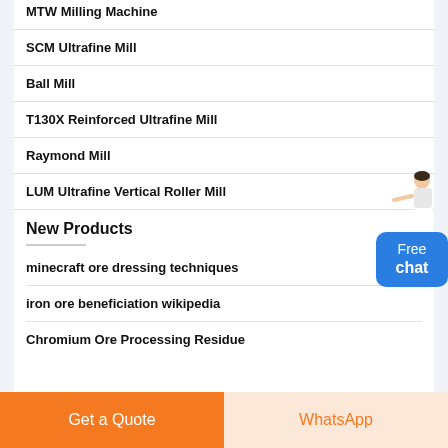MTW Milling Machine
SCM Ultrafine Mill
Ball Mill
T130X Reinforced Ultrafine Mill
Raymond Mill
LUM Ultrafine Vertical Roller Mill
New Products
minecraft ore dressing techniques
iron ore beneficiation wikipedia
Chromium Ore Processing Residue
[Figure (illustration): Customer service representative figure with Free chat button widget]
Get a Quote | WhatsApp